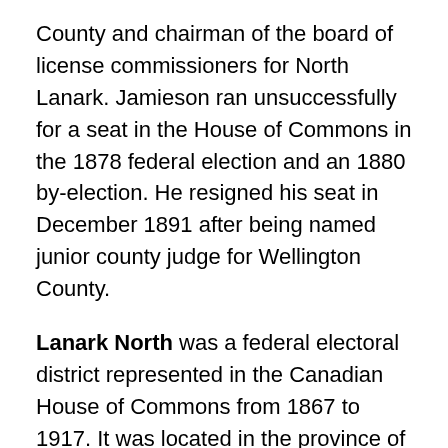County and chairman of the board of license commissioners for North Lanark. Jamieson ran unsuccessfully for a seat in the House of Commons in the 1878 federal election and an 1880 by-election. He resigned his seat in December 1891 after being named junior county judge for Wellington County.
Lanark North was a federal electoral district represented in the Canadian House of Commons from 1867 to 1917. It was located in the province of Ontario. It was created by the British North America Act of 1867 which divided the County of Lanark into two ridings: Lanark South and Lanark North.
In 1882, the North Riding of Lanark was defined to consist of the townships of Ramsay, Pakenham, Darling, Dalhousie, North Sherbrooke, Lavant, Fitzroy, Huntley and